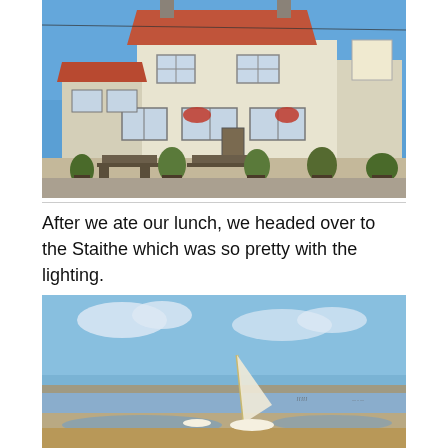[Figure (photo): Exterior photo of a British pub/inn building with cream painted walls, red tiled roof, hanging flower baskets, picnic benches and potted plants in front, under a blue sky.]
After we ate our lunch, we headed over to the Staithe which was so pretty with the lighting.
[Figure (photo): Coastal estuary scene (the Staithe) with shallow water, sandy mudflats, small sailing boats with white sails, and a wide blue sky with light clouds.]